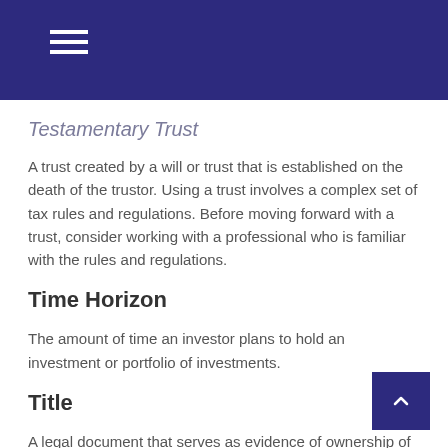Testamentary Trust
A trust created by a will or trust that is established on the death of the trustor. Using a trust involves a complex set of tax rules and regulations. Before moving forward with a trust, consider working with a professional who is familiar with the rules and regulations.
Time Horizon
The amount of time an investor plans to hold an investment or portfolio of investments.
Title
A legal document that serves as evidence of ownership of an asset or security.
Total Return